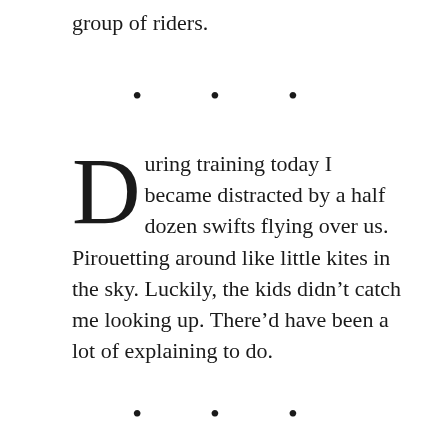group of riders.
. . .
During training today I became distracted by a half dozen swifts flying over us. Pirouetting around like little kites in the sky. Luckily, the kids didn’t catch me looking up. There’d have been a lot of explaining to do.
. . .